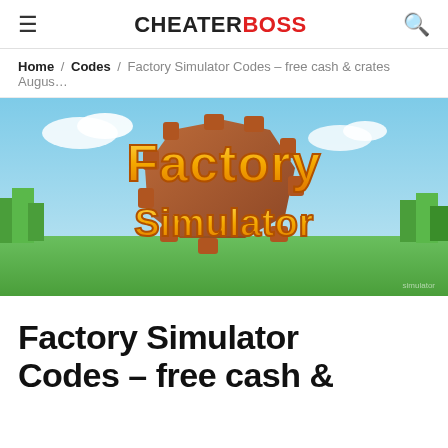CHEATERBOSS
Home / Codes / Factory Simulator Codes – free cash & crates Augus…
[Figure (screenshot): Factory Simulator game banner image showing the text 'Factory Simulator' in large golden 3D letters against a blue sky and green landscape background with a gear/cog shape behind the text.]
Factory Simulator Codes – free cash &